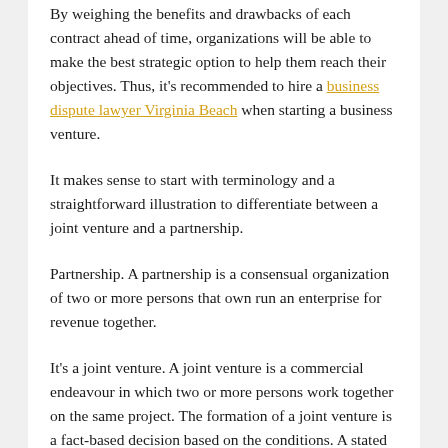By weighing the benefits and drawbacks of each contract ahead of time, organizations will be able to make the best strategic option to help them reach their objectives. Thus, it's recommended to hire a business dispute lawyer Virginia Beach when starting a business venture.
It makes sense to start with terminology and a straightforward illustration to differentiate between a joint venture and a partnership.
Partnership. A partnership is a consensual organization of two or more persons that own run an enterprise for revenue together.
It's a joint venture. A joint venture is a commercial endeavour in which two or more persons work together on the same project. The formation of a joint venture is a fact-based decision based on the conditions. A stated or implicit agreement, a common objective that the group plans to roll out, shared revenues and liabilities, and each participant's equal participation in managing projects are all required factors.